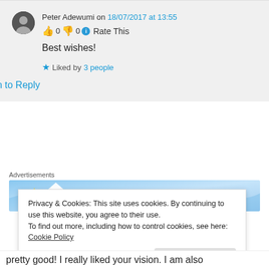Peter Adewumi on 18/07/2017 at 13:55
👍 0 👎 0 ℹ Rate This
Best wishes!
★ Liked by 3 people
Log in to Reply
Advertisements
[Figure (illustration): Tumblr Ad-Free advertisement banner showing $39.99 a year price]
Privacy & Cookies: This site uses cookies. By continuing to use this website, you agree to their use.
To find out more, including how to control cookies, see here: Cookie Policy
Close and accept
pretty good! I really liked your vision. I am also